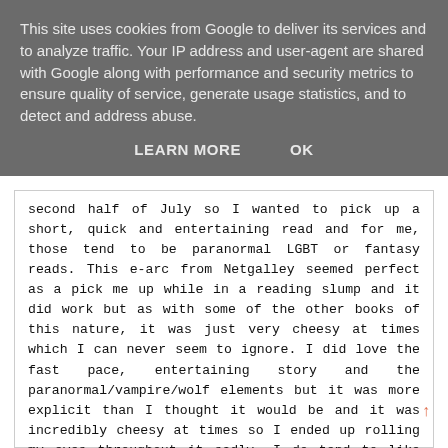This site uses cookies from Google to deliver its services and to analyze traffic. Your IP address and user-agent are shared with Google along with performance and security metrics to ensure quality of service, generate usage statistics, and to detect and address abuse.
LEARN MORE   OK
second half of July so I wanted to pick up a short, quick and entertaining read and for me, those tend to be paranormal LGBT or fantasy reads. This e-arc from Netgalley seemed perfect as a pick me up while in a reading slump and it did work but as with some of the other books of this nature, it was just very cheesy at times which I can never seem to ignore. I did love the fast pace, entertaining story and the paranormal/vampire/wolf elements but it was more explicit than I thought it would be and it was incredibly cheesy at times so I ended up rolling my eyes throughout it sadly. I do tend to like books from this publisher though so I will look out for them in the future.